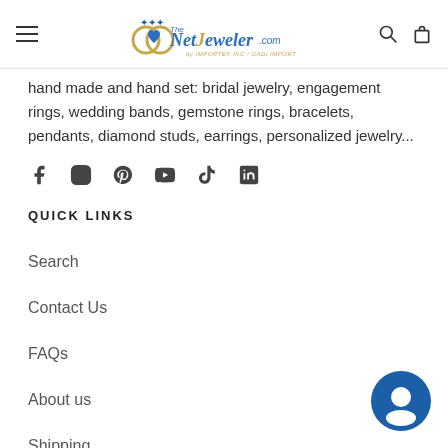The NetJeweler.com by IMPORTEX INC / GADI IMPORT
hand made and hand set: bridal jewelry, engagement rings, wedding bands, gemstone rings, bracelets, pendants, diamond studs, earrings, personalized jewelry...
[Figure (infographic): Social media icons: Facebook, Instagram, Pinterest, YouTube, TikTok, LinkedIn]
QUICK LINKS
Search
Contact Us
FAQs
About us
Shipping
Terms of Sale